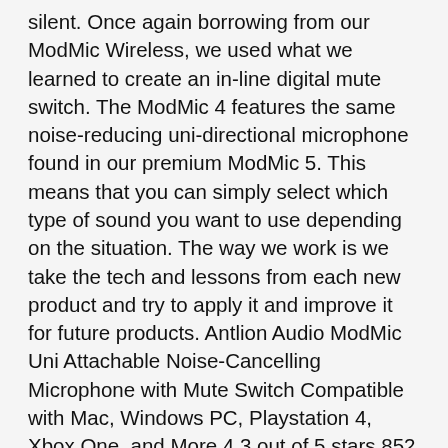silent. Once again borrowing from our ModMic Wireless, we used what we learned to create an in-line digital mute switch. The ModMic 4 features the same noise-reducing uni-directional microphone found in our premium ModMic 5. This means that you can simply select which type of sound you want to use depending on the situation. The way we work is we take the tech and lessons from each new product and try to apply it and improve it for future products. Antlion Audio ModMic Uni Attachable Noise-Cancelling Microphone with Mute Switch Compatible with Mac, Windows PC, Playstation 4, Xbox One, and More 4.3 out of 5 stars 852 $44.95 $ 44 . Other options New from $119.95. Uni And Omni Capsules. … One significant upgrade that the ModMic 5 has over the Mod Mic 4 Is the inclusion of both the unidirectional and omnidirectional capsules in the same unit and can easily be toggled using the switch. We promise these files are raw audio that has not been edited in any way. The Antlion Audio ModMic 5 is a much refined product which can be plugged in to just about any device that takes a microphone input.